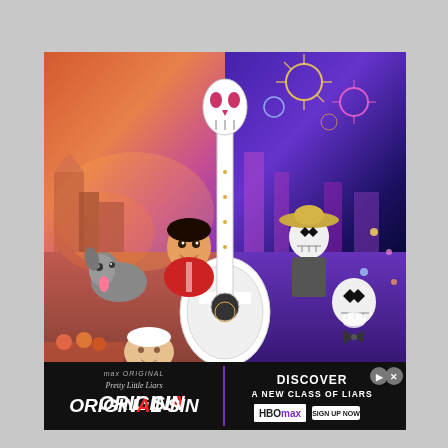[Figure (illustration): Movie poster for Pixar's Coco. Shows animated characters including a young boy (Miguel), a hairless dog, skeleton characters wearing a sombrero, and an elderly woman, all set against a split background of a warm sunset Mexican village and a vibrant purple/blue fantastical Land of the Dead with fireworks. A large ornately decorated guitar with a skull headstock is prominently featured in the center.]
[Figure (illustration): Advertisement banner for HBO Max featuring Pretty Little Liars: Original Sin. Left side shows the show title on dark background. Right side shows 'DISCOVER A NEW CLASS OF LIARS HBOMAX SIGN UP NOW' with navigation icons.]